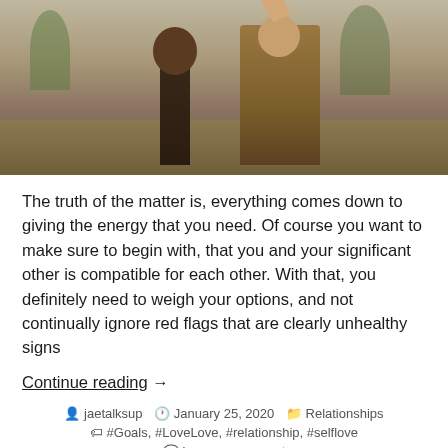[Figure (photo): Two people standing outdoors in a park setting. One person wearing a brown leather jacket with arms crossed, the other in a tan/brown jacket gesturing with hand raised. Autumn/fall foliage visible in background.]
The truth of the matter is, everything comes down to giving the energy that you need. Of course you want to make sure to begin with, that you and your significant other is compatible for each other. With that, you definitely need to weigh your options, and not continually ignore red flags that are clearly unhealthy signs
Continue reading  →
jaetalksup   January 25, 2020   Relationships
#Goals, #LoveLove, #relationship, #selflove
Leave a comment